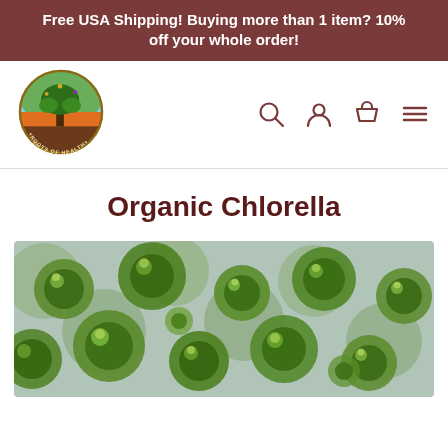Free USA Shipping! Buying more than 1 item? 10% off your whole order!
[Figure (logo): Roots of Health circular logo with tree illustration and colorful landscape background]
[Figure (infographic): Navigation icons: search magnifying glass, user profile circle, shopping bag, hamburger menu]
Organic Chlorella
[Figure (photo): Close-up macro photograph of green chlorella algae cells, showing round green spherical cells under microscope against blueish-grey background]